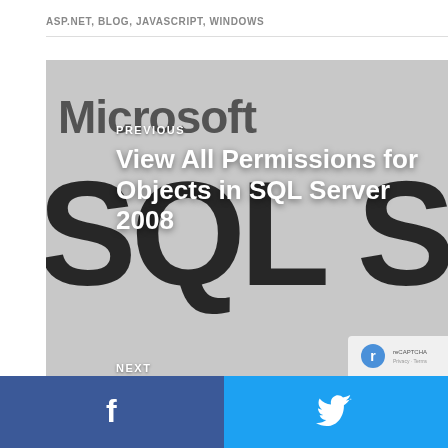ASP.NET, BLOG, JAVASCRIPT, WINDOWS
[Figure (screenshot): Microsoft SQL Server book cover used as background image for previous/next navigation links]
PREVIOUS
View All Permissions for Objects in SQL Server 2008
NEXT
Could not install the custom actions
[Figure (logo): Facebook share button with white 'f' icon on dark blue background]
[Figure (logo): Twitter share button with white bird icon on light blue background]